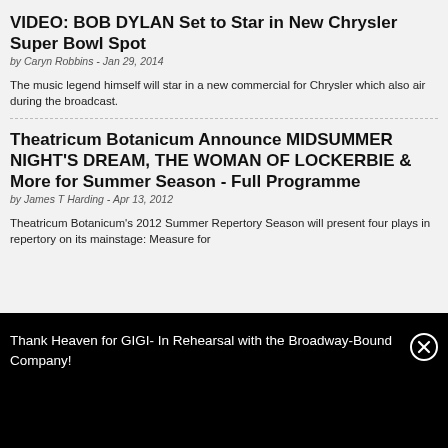VIDEO: BOB DYLAN Set to Star in New Chrysler Super Bowl Spot
by Caryn Robbins - Jan 29, 2014
The music legend himself will star in a new commercial for Chrysler which also air during the broadcast.
Theatricum Botanicum Announce MIDSUMMER NIGHT'S DREAM, THE WOMAN OF LOCKERBIE & More for Summer Season - Full Programme
by James T Harding - Apr 13, 2012
Theatricum Botanicum's 2012 Summer Repertory Season will present four plays in repertory on its mainstage: Measure for
Thank Heaven for GIGI- In Rehearsal with the Broadway-Bound Company!